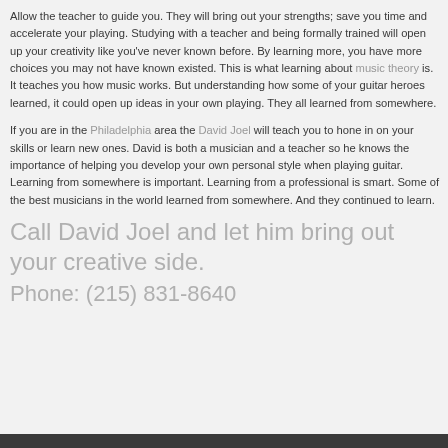Allow the teacher to guide you. They will bring out your strengths; save you time and accelerate your playing. Studying with a teacher and being formally trained will open up your creativity like you've never known before. By learning more, you have more choices you may not have known existed. This is what learning about music theory is. It teaches you how music works. But understanding how some of your guitar heroes learned, it could open up ideas in your own playing. They all learned from somewhere.
If you are in the Philadelphia area the David Joel will teach you to hone in on your skills or learn new ones. David is both a musician and a teacher so he knows the importance of helping you develop your own personal style when playing guitar. Learning from somewhere is important. Learning from a professional is smart. Some of the best musicians in the world learned from somewhere. And they continued to learn.
Call David Joel and let him bring out your creative side.
Phone: (215) 831-8640